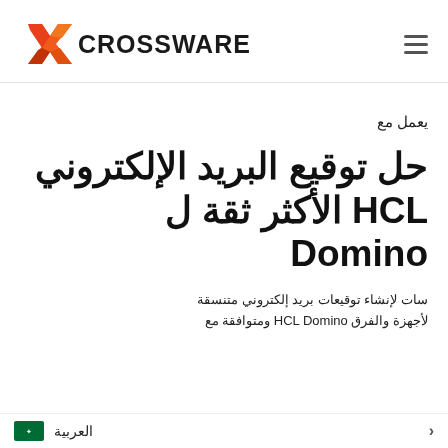[Figure (logo): Crossware logo with orange/red angular X icon and bold CROSSWARE text in black]
يعمل مع
حل توقيع البريد الإلكتروني HCL الأكثر ثقة ل Domino
سات لإنشاء توقيعات بريد إلكتروني متنسقة لأجهزة والفرق HCL Domino ومتوافقة مع
العربية